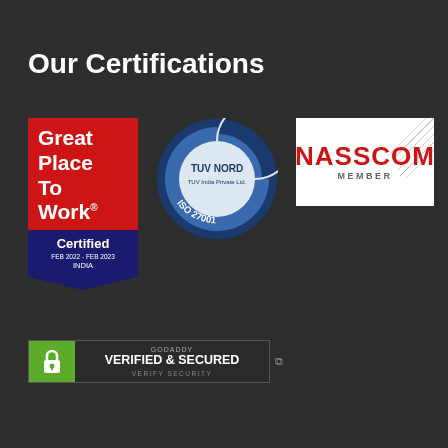Our Certifications
[Figure (logo): Great Place To Work - Certified FEB 2022 - FEB 2023 INDIA badge (red and dark blue)]
[Figure (logo): TUV NORD - TUV India Private Ltd. ISO 27001 circular certification seal (blue and white)]
[Figure (logo): NASSCOM MEMBER logo on white background]
[Figure (logo): GoDaddy Verified & Secured seal with green lock icon and 'VERIFY SECURITY' text, with small external link icon]